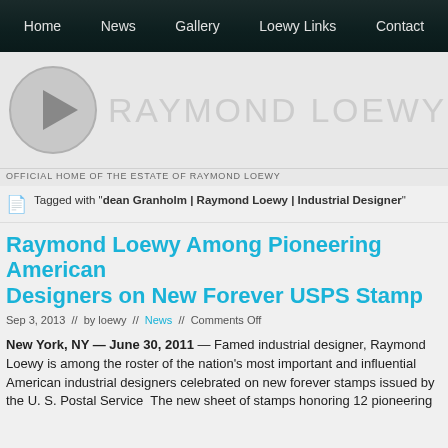Home  News  Gallery  Loewy Links  Contact
[Figure (logo): Raymond Loewy estate logo with circular play-button icon and text RAYMOND LOEWY]
OFFICIAL HOME OF THE ESTATE OF RAYMOND LOEWY
Tagged with "dean Granholm | Raymond Loewy | Industrial Designer"
Raymond Loewy Among Pioneering American Designers on New Forever USPS Stamp
Sep 3, 2013  //  by loewy  //  News  //  Comments Off
New York, NY — June 30, 2011 — Famed industrial designer, Raymond Loewy is among the roster of the nation's most important and influential American industrial designers celebrated on new forever stamps issued by the U. S. Postal Service  The new sheet of stamps honoring 12 pioneering